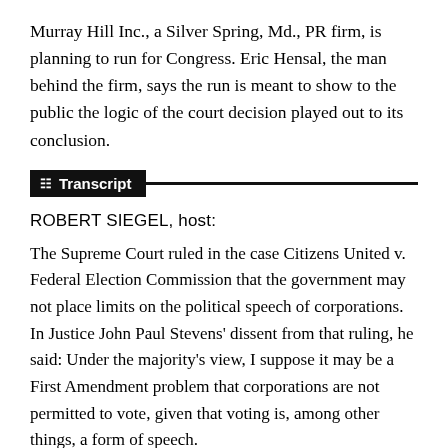Murray Hill Inc., a Silver Spring, Md., PR firm, is planning to run for Congress. Eric Hensal, the man behind the firm, says the run is meant to show to the public the logic of the court decision played out to its conclusion.
Transcript
ROBERT SIEGEL, host:
The Supreme Court ruled in the case Citizens United v. Federal Election Commission that the government may not place limits on the political speech of corporations. In Justice John Paul Stevens' dissent from that ruling, he said: Under the majority's view, I suppose it may be a First Amendment problem that corporations are not permitted to vote, given that voting is, among other things, a form of speech.